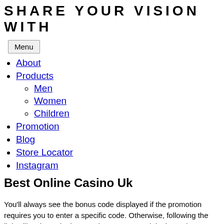SHARE YOUR VISION WITH
Menu
About
Products
Men
Women
Children
Promotion
Blog
Store Locator
Instagram
Best Online Casino Uk
You’ll always see the bonus code displayed if the promotion requires you to enter a specific code. Otherwise, following the link will activate the bonus when you go to claim it. Modern smartphone casinos operate almost as well as the online models of the casinos. The Nordic mobile billing services Zimpler and Siru